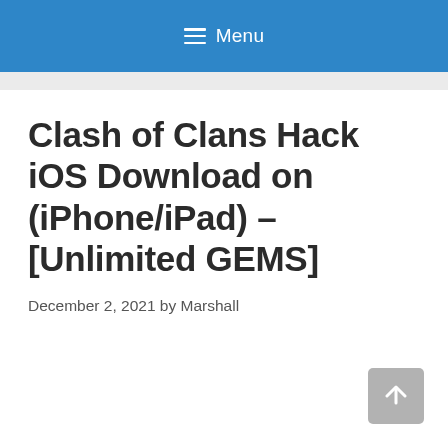≡ Menu
Clash of Clans Hack iOS Download on (iPhone/iPad) – [Unlimited GEMS]
December 2, 2021 by Marshall